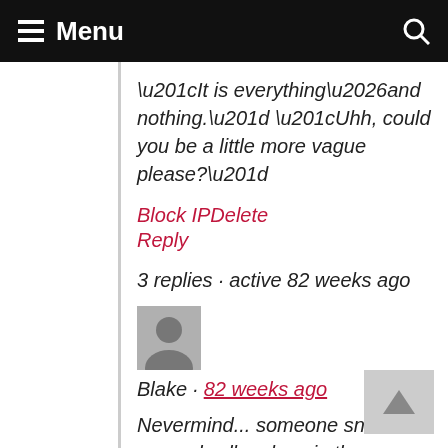Menu
“It is everything…and nothing.” “Uhh, could you be a little more vague please?”
Block IP | Delete
Reply
3 replies · active 82 weeks ago
[Figure (photo): User avatar placeholder silhouette]
Blake · 82 weeks ago
Nevermind... someone snuck some dwellers love in there. Awesome
Block IPDelete